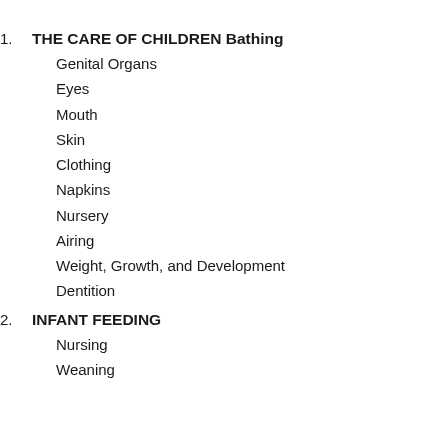1. THE CARE OF CHILDREN Bathing
Genital Organs
Eyes
Mouth
Skin
Clothing
Napkins
Nursery
Airing
Weight, Growth, and Development
Dentition
2. INFANT FEEDING
Nursing
Weaning